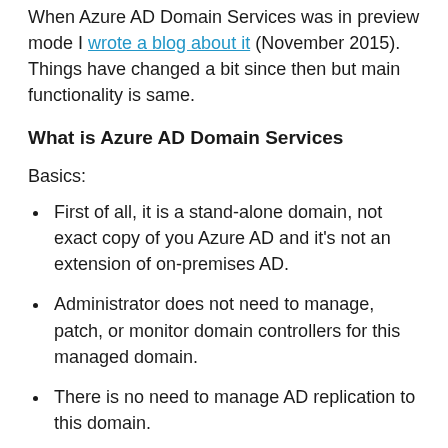When Azure AD Domain Services was in preview mode I wrote a blog about it (November 2015). Things have changed a bit since then but main functionality is same.
What is Azure AD Domain Services
Basics:
First of all, it is a stand-alone domain, not exact copy of you Azure AD and it's not an extension of on-premises AD.
Administrator does not need to manage, patch, or monitor domain controllers for this managed domain.
There is no need to manage AD replication to this domain.